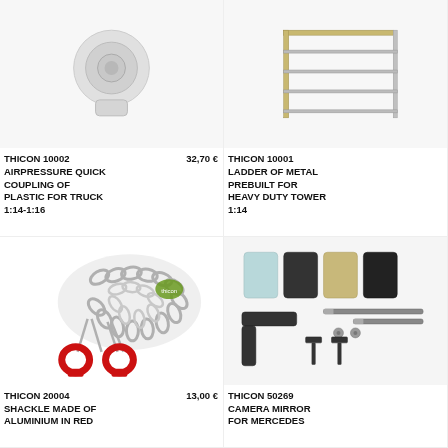[Figure (photo): Product photo of THICON 10002 airpressure quick coupling made of plastic for truck 1:14-1:16, showing a small circular plastic connector piece on white background]
THICON 10002 AIRPRESSURE QUICK COUPLING OF PLASTIC FOR TRUCK 1:14-1:16
32,70 €
[Figure (photo): Product photo of THICON 10001 ladder of metal prebuilt for heavy duty tower 1:14, showing a metal ladder frame on white background]
THICON 10001 LADDER OF METAL PREBUILT FOR HEAVY DUTY TOWER 1:14
[Figure (photo): Product photo of THICON 20004 shackle made of aluminium in red, showing a silver chain with two red shackles/carabiners on white background, with thicon logo visible]
THICON 20004 SHACKLE MADE OF ALUMINIUM IN RED
13,00 €
[Figure (photo): Product photo of THICON 50269 camera mirror for Mercedes, showing various colored mirror pieces (light blue, black, tan, dark) and mounting hardware including screws and brackets on white background]